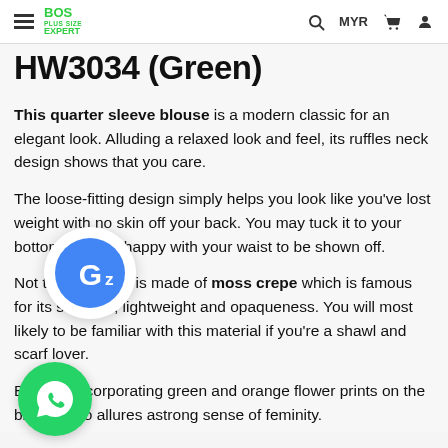BOS PLUS SIZE EXPERT — MYR
HW3034 (Green)
This quarter sleeve blouse is a modern classic for an elegant look. Alluding a relaxed look and feel, its ruffles neck design shows that you care.
The loose-fitting design simply helps you look like you've lost weight with no skin off your back. You may tuck it to your bottom if you're happy with your waist to be shown off.
Not to mention, it is made of moss crepe which is famous for its softness, lightweight and opaqueness. You will most likely to be familiar with this material if you're a shawl and scarf lover.
Besides incorporating green and orange flower prints on the blouse also allures a strong sense of feminity.